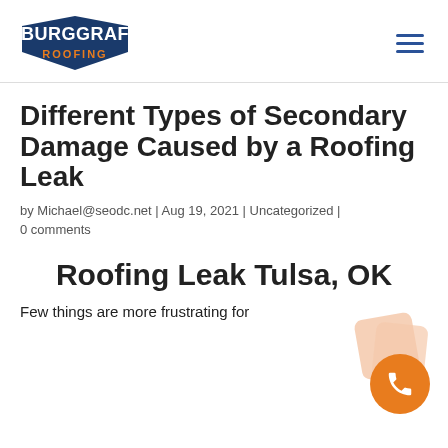BURGGRAF ROOFING
Different Types of Secondary Damage Caused by a Roofing Leak
by Michael@seodc.net | Aug 19, 2021 | Uncategorized | 0 comments
Roofing Leak Tulsa, OK
Few things are more frustrating for